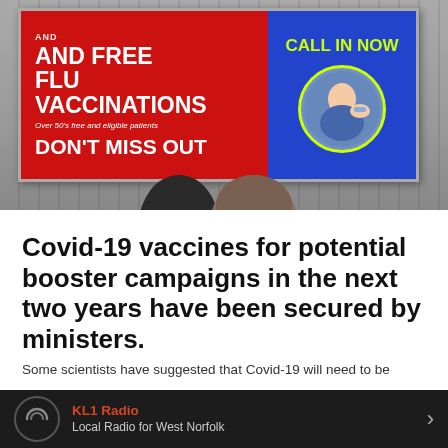[Figure (photo): Photo of a digital pharmacy or clinic sign board on a wall showing a red background with white text 'AND FREE FLU VACCINATIONS Over 50's free and eligible patients DON'T MISS OUT' on the left side and a blue background with yellow-green text 'CALL IN NOW' and a circular image of a person receiving a vaccination on the right side. Two people's heads are visible in silhouette in the foreground.]
Covid-19 vaccines for potential booster campaigns in the next two years have been secured by ministers.
Some scientists have suggested that Covid-19 will need to be
KL1 Radio — Local Radio for West Norfolk